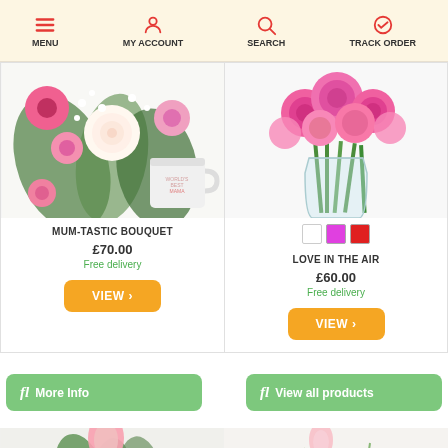MENU  MY ACCOUNT  SEARCH  TRACK ORDER
[Figure (photo): Mum-Tastic Bouquet flower arrangement with pink and white flowers and a mug]
MUM-TASTIC BOUQUET
£70.00
Free delivery
VIEW
[Figure (photo): Love in the Air bouquet with pink roses in a glass vase, color swatches: white, pink, red]
LOVE IN THE AIR
£60.00
Free delivery
VIEW
fl More Info
fl View all products
[Figure (photo): Pink flower with green leaves (bottom left card)]
[Figure (photo): Pink tulip with green leaves (bottom right card)]